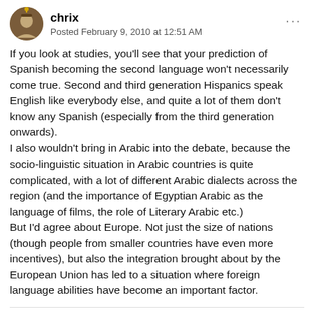chrix — Posted February 9, 2010 at 12:51 AM
If you look at studies, you'll see that your prediction of Spanish becoming the second language won't necessarily come true. Second and third generation Hispanics speak English like everybody else, and quite a lot of them don't know any Spanish (especially from the third generation onwards).
I also wouldn't bring in Arabic into the debate, because the socio-linguistic situation in Arabic countries is quite complicated, with a lot of different Arabic dialects across the region (and the importance of Egyptian Arabic as the language of films, the role of Literary Arabic etc.)
But I'd agree about Europe. Not just the size of nations (though people from smaller countries have even more incentives), but also the integration brought about by the European Union has led to a situation where foreign language abilities have become an important factor.
Cactus543